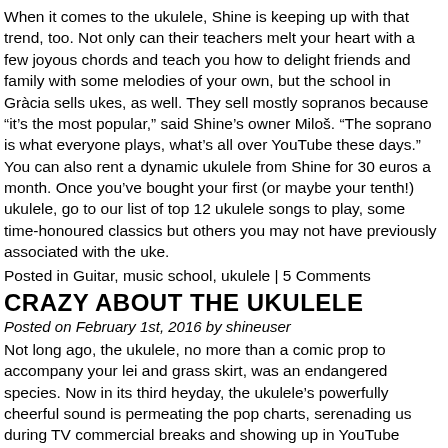When it comes to the ukulele, Shine is keeping up with that trend, too. Not only can their teachers melt your heart with a few joyous chords and teach you how to delight friends and family with some melodies of your own, but the school in Gràcia sells ukes, as well. They sell mostly sopranos because “it’s the most popular,” said Shine’s owner Miloš. “The soprano is what everyone plays, what’s all over YouTube these days.” You can also rent a dynamic ukulele from Shine for 30 euros a month. Once you’ve bought your first (or maybe your tenth!) ukulele, go to our list of top 12 ukulele songs to play, some time-honoured classics but others you may not have previously associated with the uke.
Posted in Guitar, music school, ukulele | 5 Comments
CRAZY ABOUT THE UKULELE
Posted on February 1st, 2016 by shineuser
Not long ago, the ukulele, no more than a comic prop to accompany your lei and grass skirt, was an endangered species. Now in its third heyday, the ukulele’s powerfully cheerful sound is permeating the pop charts, serenading us during TV commercial breaks and showing up in YouTube videos by the thousands. The